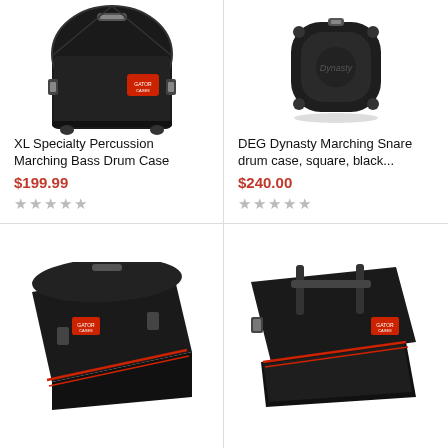[Figure (photo): XL Specialty Percussion Marching Bass Drum Case - black hard case, dome top]
XL Specialty Percussion Marching Bass Drum Case
$199.99
★★★★★ (empty stars rating)
[Figure (photo): DEG Dynasty Marching Snare drum case, square, black - viewed from top]
DEG Dynasty Marching Snare drum case, square, black...
$240.00
★★★★★ (empty stars rating)
[Figure (photo): Marching bass drum case, black with red accents - bottom left product]
[Figure (photo): Marching bass drum case, black with red accents and handles - bottom right product]